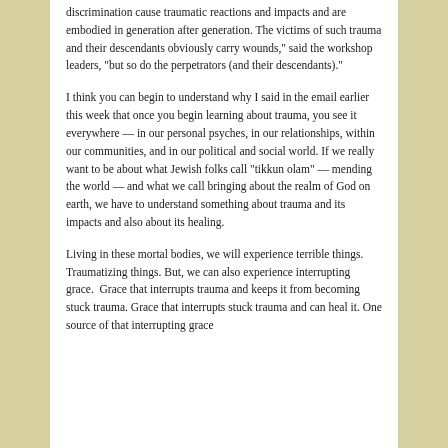discrimination cause traumatic reactions and impacts and are embodied in generation after generation. The victims of such trauma and their descendants obviously carry wounds," said the workshop leaders, "but so do the perpetrators (and their descendants)."
I think you can begin to understand why I said in the email earlier this week that once you begin learning about trauma, you see it everywhere — in our personal psyches, in our relationships, within our communities, and in our political and social world. If we really want to be about what Jewish folks call "tikkun olam" — mending the world — and what we call bringing about the realm of God on earth, we have to understand something about trauma and its impacts and also about its healing.
Living in these mortal bodies, we will experience terrible things. Traumatizing things. But, we can also experience interrupting grace.  Grace that interrupts trauma and keeps it from becoming stuck trauma. Grace that interrupts stuck trauma and can heal it. One source of that interrupting grace is...